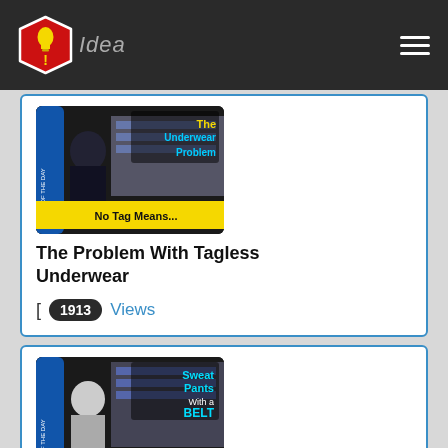[Figure (logo): Idea of the Day logo - red shield with exclamation mark and lightbulb]
Idea
[Figure (screenshot): Video thumbnail for 'The Problem With Tagless Underwear' - shows a man in a store with text: The Underwear Problem, No Tag Means...]
The Problem With Tagless Underwear
[ 1913 Views
[Figure (screenshot): Video thumbnail for 'Sweatpants With Belt Loops' - shows a man with text: Sweat Pants With a BELT, Why Not?]
Sweatpants With Belt Loops
[ 3859 Views